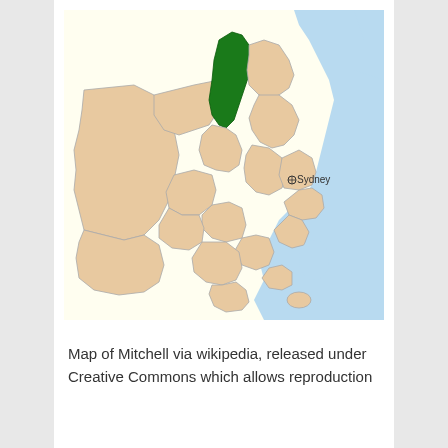[Figure (map): Map of the Greater Sydney region showing electoral or local government divisions. One district (Mitchell) is highlighted in dark green in the upper-central area. The surrounding districts are shown in a light tan/beige color. The coastline and water bodies are shown in light blue. A point marker labeled 'Sydney' is shown near the center-right of the map.]
Map of Mitchell via wikipedia, released under Creative Commons which allows reproduction